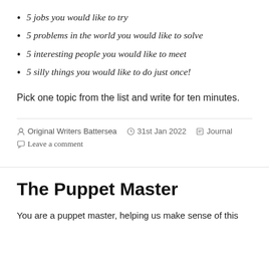5 jobs you would like to try
5 problems in the world you would like to solve
5 interesting people you would like to meet
5 silly things you would like to do just once!
Pick one topic from the list and write for ten minutes.
Original Writers Battersea  31st Jan 2022  Journal  Leave a comment
The Puppet Master
You are a puppet master, helping us make sense of this